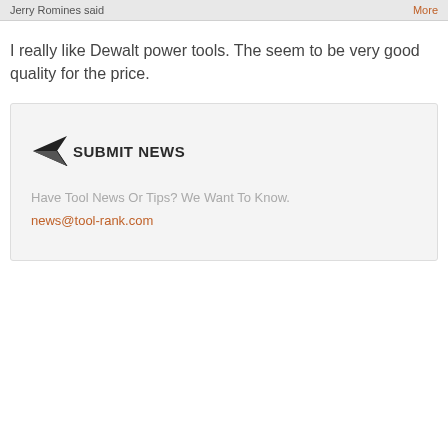Jerry Romines said | More
I really like Dewalt power tools. The seem to be very good quality for the price.
[Figure (infographic): Submit News box with paper airplane icon, heading 'SUBMIT NEWS', tagline 'Have Tool News Or Tips? We Want To Know.' and email 'news@tool-rank.com']